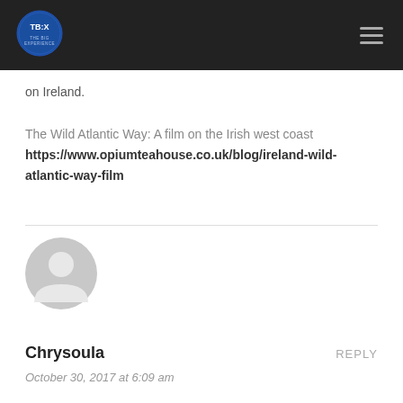[Figure (logo): TBX circular logo in blue on dark navigation bar]
on Ireland.
The Wild Atlantic Way: A film on the Irish west coast
https://www.opiumteahouse.co.uk/blog/ireland-wild-atlantic-way-film
[Figure (photo): Default grey user avatar icon (circle with person silhouette)]
Chrysoula
REPLY
October 30, 2017 at 6:09 am